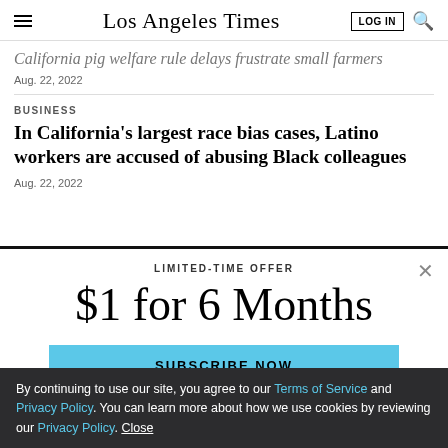Los Angeles Times
California pig welfare rule delays frustrate small farmers
Aug. 22, 2022
BUSINESS
In California's largest race bias cases, Latino workers are accused of abusing Black colleagues
Aug. 22, 2022
LIMITED-TIME OFFER
$1 for 6 Months
SUBSCRIBE NOW
By continuing to use our site, you agree to our Terms of Service and Privacy Policy. You can learn more about how we use cookies by reviewing our Privacy Policy. Close